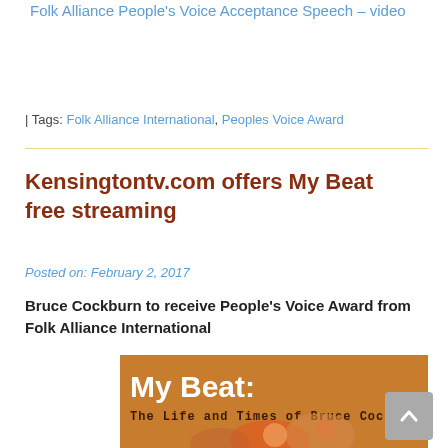Folk Alliance People's Voice Acceptance Speech – video
| Tags: Folk Alliance International, Peoples Voice Award
Kensingtontv.com offers My Beat free streaming
Posted on: February 2, 2017
Bruce Cockburn to receive People's Voice Award from Folk Alliance International
[Figure (photo): Book cover image for 'My Beat: The Life and Times of Bruce Cockburn' with golden/brown background and illustrated figures]